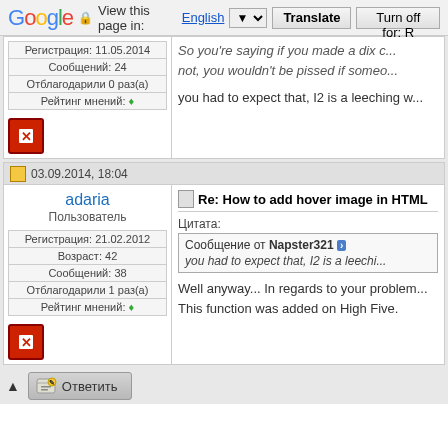Google  View this page in: English [dropdown] Translate  Turn off for: R
| Регистрация: 11.05.2014 |
| Сообщений: 24 |
| Отблагодарили 0 раз(а) |
| Рейтинг мнений: ♦ |
So you're saying if you made a dix c... not, you wouldn't be pissed if someo...
you had to expect that, I2 is a leeching w...
03.09.2014, 18:04
adaria
Пользователь
| Регистрация: 21.02.2012 |
| Возраст: 42 |
| Сообщений: 38 |
| Отблагодарили 1 раз(а) |
| Рейтинг мнений: ♦ |
Re: How to add hover image in HTML
Цитата:
Сообщение от Napster321 [>]
you had to expect that, I2 is a leechi...
Well anyway... In regards to your problem... This function was added on High Five.
Ответить